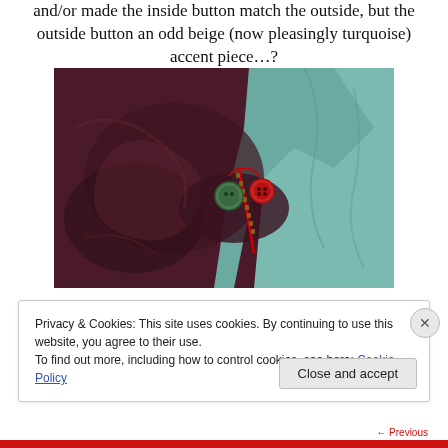and/or made the inside button match the outside, but the outside button an odd beige (now pleasingly turquoise) accent piece…?
[Figure (photo): Close-up photograph of a dark maroon/burgundy jacket or garment showing a zipper and two buttons — a green button and a red button — alongside teal/turquoise fabric]
Privacy & Cookies: This site uses cookies. By continuing to use this website, you agree to their use.
To find out more, including how to control cookies, see here: Cookie Policy
Close and accept